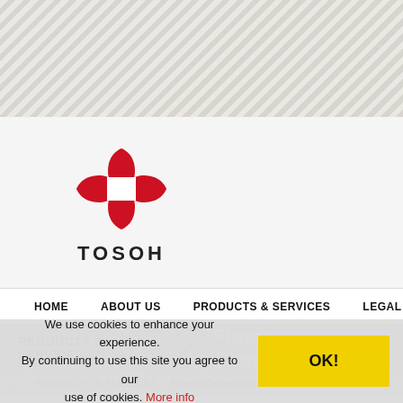[Figure (logo): Tosoh company logo — red four-petal flower shape with white square in center, with TOSOH text below]
HOME   ABOUT US   PRODUCTS & SERVICES   LEGAL   CONT...
PRODUCTS & SERVICES  →  Fluoro Compounds
🏠  PRODUCTS & SERVICES  |  Fluoro Compounds
We use cookies to enhance your experience. By continuing to use this site you agree to our use of cookies. More info